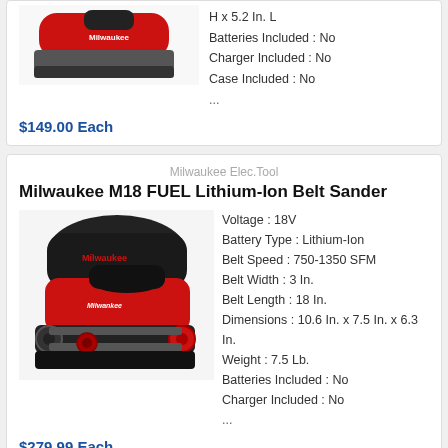H x 5.2 In. L
Batteries Included : No
Charger Included : No
Case Included : No
...
$149.00 Each
Milwaukee Elec.Tool
Milwaukee M18 FUEL Lithium-Ion Belt Sander
[Figure (photo): Red and black Milwaukee M18 FUEL belt sander with carrying bag]
Voltage : 18V
Battery Type : Lithium-Ion
Belt Speed : 750-1350 SFM
Belt Width : 3 In.
Belt Length : 18 In.
Dimensions : 10.6 In. x 7.5 In. x 6.3 In.
Weight : 7.5 Lb.
Batteries Included : No
Charger Included : No
...
$279.99 Each